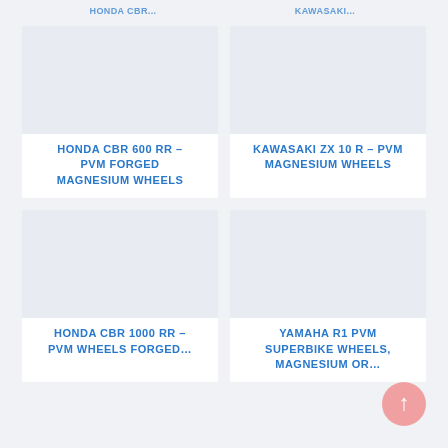HONDA CBR 600 RR – PVM FORGED MAGNESIUM WHEELS
KAWASAKI ZX 10 R – PVM MAGNESIUM WHEELS
HONDA CBR 1000 RR – PVM WHEELS FORGED...
YAMAHA R1 PVM SUPERBIKE WHEELS, MAGNESIUM OR...